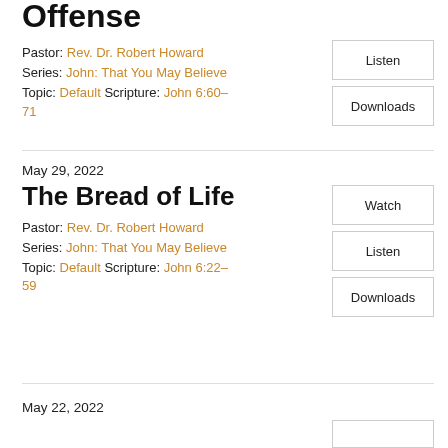Offense
Pastor: Rev. Dr. Robert Howard
Series: John: That You May Believe
Topic: Default Scripture: John 6:60–71
May 29, 2022
The Bread of Life
Pastor: Rev. Dr. Robert Howard
Series: John: That You May Believe
Topic: Default Scripture: John 6:22–59
May 22, 2022